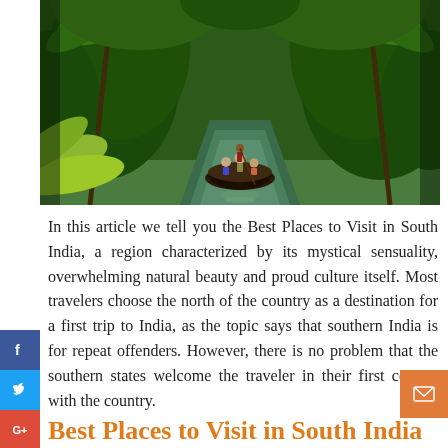[Figure (photo): A traditional wooden boat carrying tourists through a lush green Kerala backwater channel surrounded by dense tropical palm trees and vegetation, viewed from behind the boat looking down the narrow waterway.]
In this article we tell you the Best Places to Visit in South India, a region characterized by its mystical sensuality, overwhelming natural beauty and proud culture itself. Most travelers choose the north of the country as a destination for a first trip to India, as the topic says that southern India is for repeat offenders. However, there is no problem that the southern states welcome the traveler in their first contact with the country.
Best Places to Visit in South India